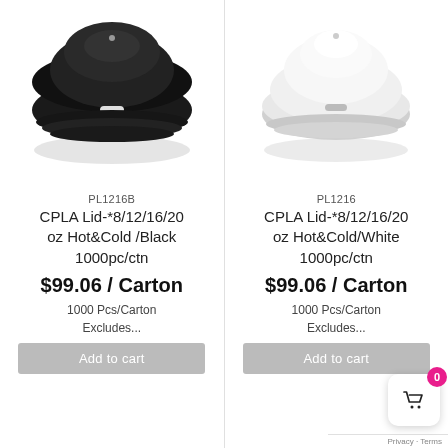[Figure (photo): Black CPLA coffee cup lid, top-down view, on white background]
[Figure (photo): White CPLA coffee cup lid, top-down view, on white background]
PL1216B
CPLA Lid-*8/12/16/20 oz Hot&Cold /Black 1000pc/ctn
$99.06 / Carton
1000 Pcs/Carton Excludes...
Add to cart
PL1216
CPLA Lid-*8/12/16/20 oz Hot&Cold/White 1000pc/ctn
$99.06 / Carton
1000 Pcs/Carton Excludes...
Add to cart